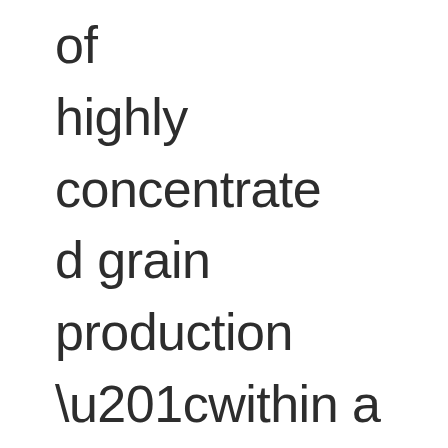of highly concentrated grain production “within a few days’ march from the court center,” not necessarily